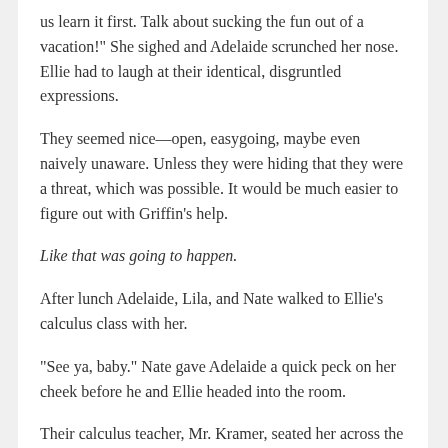us learn it first. Talk about sucking the fun out of a vacation!" She sighed and Adelaide scrunched her nose. Ellie had to laugh at their identical, disgruntled expressions.
They seemed nice—open, easygoing, maybe even naively unaware. Unless they were hiding that they were a threat, which was possible. It would be much easier to figure out with Griffin's help.
Like that was going to happen.
After lunch Adelaide, Lila, and Nate walked to Ellie's calculus class with her.
“See ya, baby.” Nate gave Adelaide a quick peck on her cheek before he and Ellie headed into the room.
Their calculus teacher, Mr. Kramer, seated her across the room from Nate, so she didn’t get a chance to find out more.